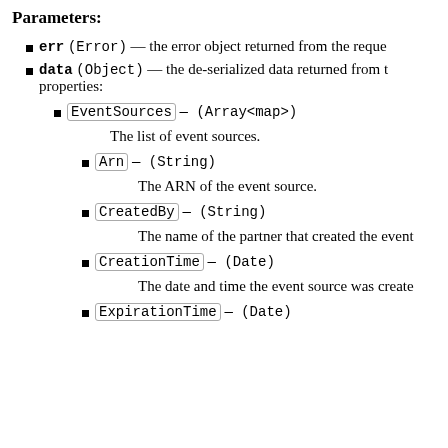Parameters:
err (Error) — the error object returned from the reque...
data (Object) — the de-serialized data returned from t... properties:
EventSources — (Array<map>)
The list of event sources.
Arn — (String)
The ARN of the event source.
CreatedBy — (String)
The name of the partner that created the event...
CreationTime — (Date)
The date and time the event source was create...
ExpirationTime — (Date)